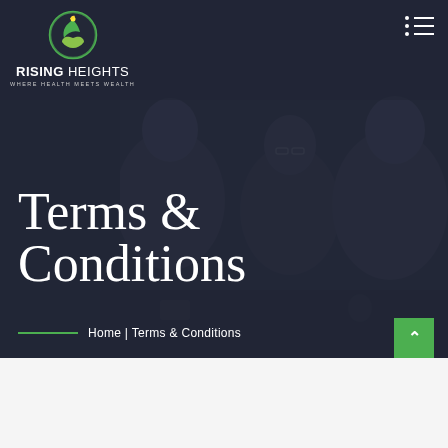[Figure (logo): Rising Heights logo — circular green icon with leaf/hands motif, text 'RISING HEIGHTS' and tagline 'WHERE HEALTH MEETS WEALTH']
Terms & Conditions
Home | Terms & Conditions
[Figure (photo): Dark-tinted background photo of business people in a meeting or discussion, two people visible on right side]